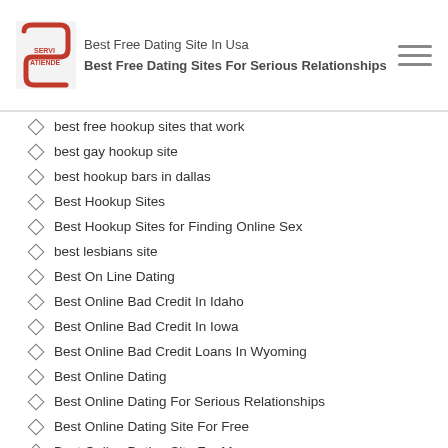Best Free Dating Site In Usa | Best Free Dating Sites For Serious Relationships
best free hookup sites that work
best gay hookup site
best hookup bars in dallas
Best Hookup Sites
Best Hookup Sites for Finding Online Sex
best lesbians site
Best On Line Dating
Best Online Bad Credit In Idaho
Best Online Bad Credit In Iowa
Best Online Bad Credit Loans In Wyoming
Best Online Dating
Best Online Dating For Serious Relationships
Best Online Dating Site For Free
Best Online Dating Site For Men
Best Online Dating Site Opening Messages